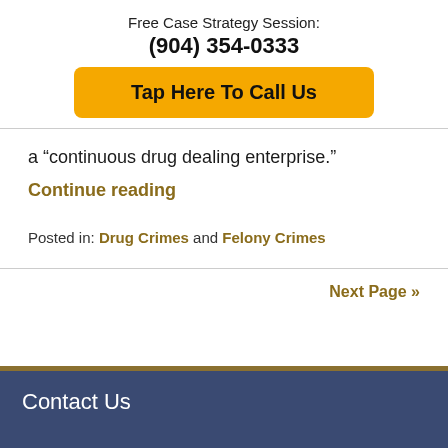Free Case Strategy Session: (904) 354-0333
Tap Here To Call Us
a “continuous drug dealing enterprise.”
Continue reading
Posted in: Drug Crimes and Felony Crimes
Next Page »
Contact Us